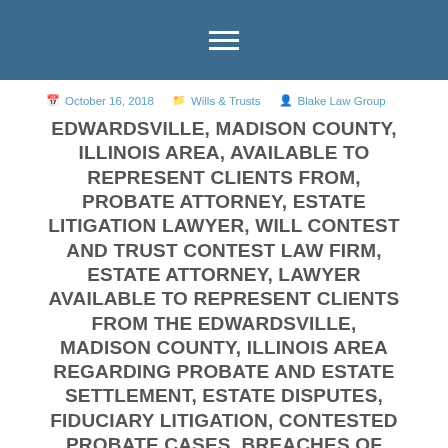≡
October 16, 2018  Wills & Trusts  Blake Law Group
EDWARDSVILLE, MADISON COUNTY, ILLINOIS AREA, AVAILABLE TO REPRESENT CLIENTS FROM, PROBATE ATTORNEY, ESTATE LITIGATION LAWYER, WILL CONTEST AND TRUST CONTEST LAW FIRM, ESTATE ATTORNEY, LAWYER AVAILABLE TO REPRESENT CLIENTS FROM THE EDWARDSVILLE, MADISON COUNTY, ILLINOIS AREA REGARDING PROBATE AND ESTATE SETTLEMENT, ESTATE DISPUTES, FIDUCIARY LITIGATION, CONTESTED PROBATE CASES, BREACHES OF FIDUCIARY DUTY, CLAIMS AGAINST ESTATES, EXECUTORS, TRUSTEES, BENEFICIARIES AND HEIRS, LAWSUITS